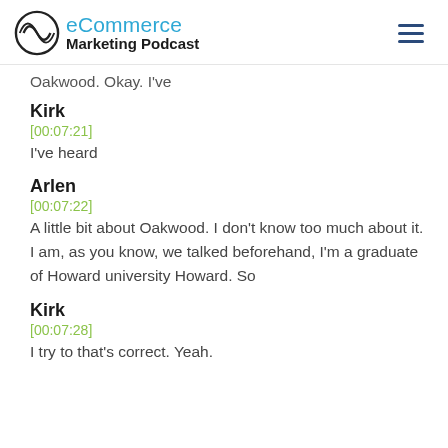eCommerce Marketing Podcast
Oakwood. Okay. I've
Kirk
[00:07:21]
I've heard
Arlen
[00:07:22]
A little bit about Oakwood. I don't know too much about it. I am, as you know, we talked beforehand, I'm a graduate of Howard university Howard. So
Kirk
[00:07:28]
I try to that's correct. Yeah.